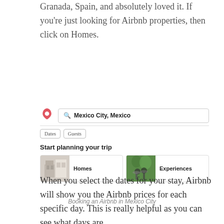Granada, Spain, and absolutely loved it. If you're just looking for Airbnb properties, then click on Homes.
[Figure (screenshot): Airbnb website screenshot showing search bar with 'Mexico City, Mexico', Dates and Guests filter buttons, and two cards: Homes and Experiences under 'Start planning your trip']
Booking an Airbnb in Mexico City
When you select the dates for your stay, Airbnb will show you the Airbnb prices for each specific day. This is really helpful as you can see what days are